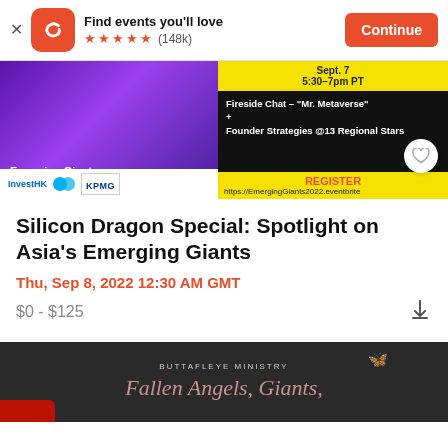Find events you'll love  ★★★★★ (148k)  Continue
[Figure (screenshot): Event banner for Silicon Dragon Special: Spotlight on Emerging Giants in Asia Pacific. Yellow and purple banner with KPMG and InvestHK sponsors, fireside chat details, Sept 7 5:30-7pm PT, register link.]
Silicon Dragon Special: Spotlight on Asia's Emerging Giants
Thu, Sep 8, 2022 12:30 AM GMT
$0 - $125
[Figure (photo): Dark background event card for Buttafleye Ministry: Fallen Angels, Giants, with butterfly emoji and red accent.]